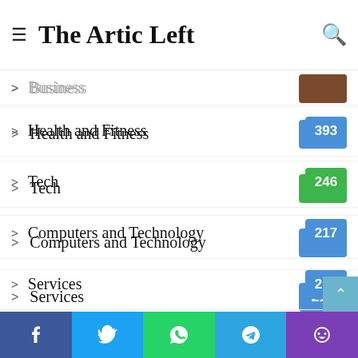The Artic Left
Business [partial/cut off at top]
Health and Fitness 393
Tech 246
Computers and Technology 217
Services 214
Fashion 133
Home Improvement 128
Lifestyle 117
Reference and Education 97
Life Style 80
Travel and Leisure 80
Finance
Facebook Twitter WhatsApp Telegram Phone